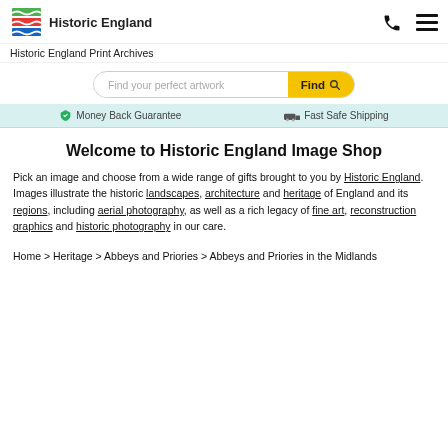[Figure (logo): Historic England logo with colored wave/stripe graphic and text 'Historic England']
Historic England Print Archives
[Figure (infographic): Search bar with placeholder 'Find your perfect artwork' and yellow 'Find' button with magnifier icon]
Money Back Guarantee   Fast Safe Shipping
Welcome to Historic England Image Shop
Pick an image and choose from a wide range of gifts brought to you by Historic England. Images illustrate the historic landscapes, architecture and heritage of England and its regions, including aerial photography, as well as a rich legacy of fine art, reconstruction graphics and historic photography in our care.
Home > Heritage > Abbeys and Priories > Abbeys and Priories in the Midlands